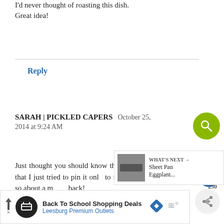I'd never thought of roasting this dish. Great idea!
Reply
SARAH | PICKLED CAPERS October 25, 2014 at 9:24 AM
Just thought you should know that this recipe looks so good that I just tried to pin it only to find out I had already done so about a month back!
Reply
WHAT'S NEXT → Sheet Pan Eggplant...
Back To School Shopping Deals Leesburg Premium Outlets